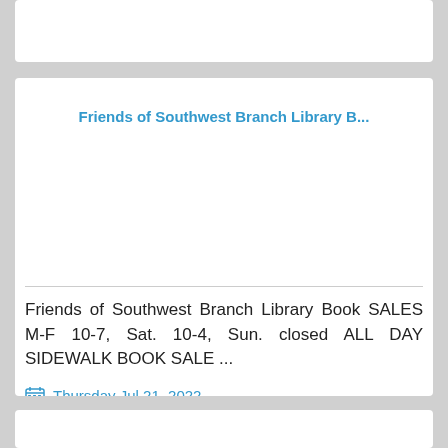Friends of Southwest Branch Library B...
Friends of Southwest Branch Library Book SALES M-F 10-7, Sat. 10-4, Sun. closed ALL DAY SIDEWALK BOOK SALE ...
Thursday Jul 21, 2022